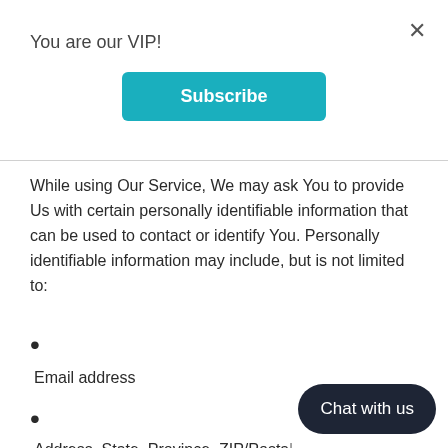You are our VIP!
[Figure (other): Subscribe button - teal/cyan colored rounded rectangle button with white bold text 'Subscribe']
While using Our Service, We may ask You to provide Us with certain personally identifiable information that can be used to contact or identify You. Personally identifiable information may include, but is not limited to:
Email address
Address, State, Province, ZIP/Postal
[Figure (other): Dark rounded pill-shaped chat button with white text 'Chat with us' in bottom right corner]